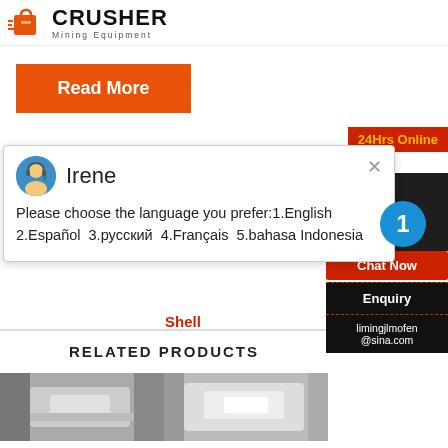CRUSHER Mining Equipment
Read More
[Figure (screenshot): 24Hrs Online chat popup with avatar of Irene, close button, and message: Please choose the language you prefer:1.English 2.Español 3.русский 4.Français 5.bahasa Indonesia]
Shell
RELATED PRODUCTS
[Figure (photo): Industrial crusher machine photo on left]
[Figure (photo): Industrial crusher machine photo on right]